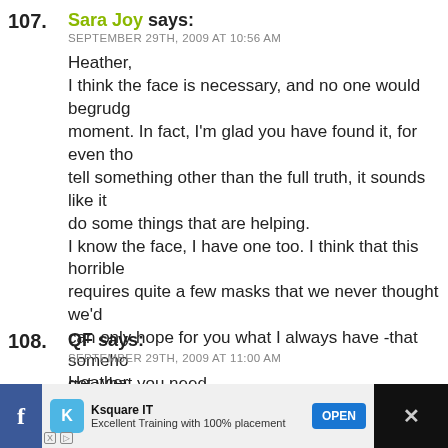107. Sara Joy says:
SEPTEMBER 29TH, 2009 AT 10:56 AM

Heather,
I think the face is necessary, and no one would begrudge moment. In fact, I'm glad you have found it, for even tho tell something other than the full truth, it sounds like it do some things that are helping.
I know the face, I have one too. I think that this horrible requires quite a few masks that we never thought we'd can only hope for you what I always have -that someho get what you need.
{{HUGS}} as always,
SJ
> Reply
108. QF says:
SEPTEMBER 29TH, 2009 AT 11:00 AM

Heather,
[Figure (screenshot): Mobile advertisement bar at bottom: Facebook icon, Ksquare IT ad with text 'Excellent Training with 100% placement', OPEN button, close X button, and additional icons on the right.]